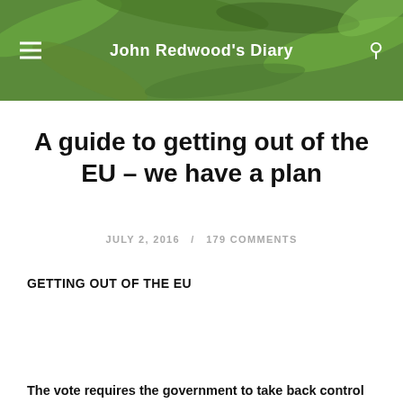John Redwood's Diary
A guide to getting out of the EU – we have a plan
JULY 2, 2016  /  179 COMMENTS
GETTING OUT OF THE EU
The vote requires the government to take back control of our laws, taxes, borders, and spending. It left open how the